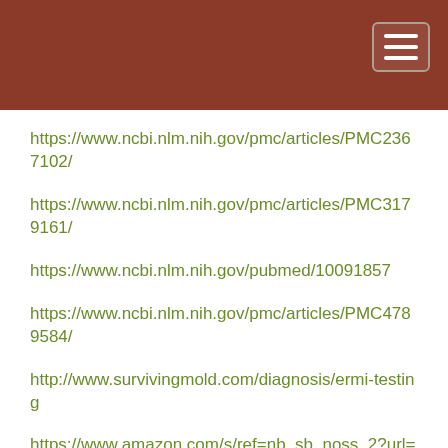https://www.ncbi.nlm.nih.gov/pmc/articles/PMC2367102/
https://www.ncbi.nlm.nih.gov/pmc/articles/PMC3179161/
https://www.ncbi.nlm.nih.gov/pubmed/10091857
https://www.ncbi.nlm.nih.gov/pmc/articles/PMC4789584/
http://www.survivingmold.com/diagnosis/ermi-testing
https://www.amazon.com/s/ref=nb_sb_noss_2?url=search-alias%3Dtools&field-keywords=tyvek+suit&rh=n%3A228013%2Ck%3Atyvek+